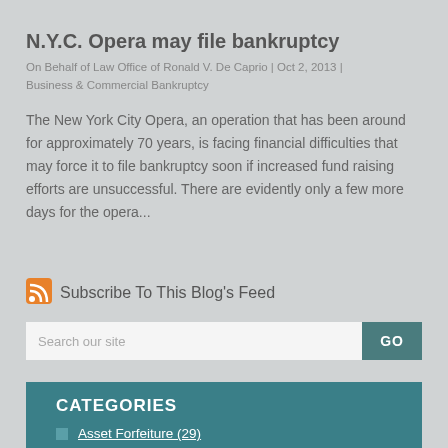N.Y.C. Opera may file bankruptcy
On Behalf of Law Office of Ronald V. De Caprio | Oct 2, 2013 | Business & Commercial Bankruptcy
The New York City Opera, an operation that has been around for approximately 70 years, is facing financial difficulties that may force it to file bankruptcy soon if increased fund raising efforts are unsuccessful. There are evidently only a few more days for the opera...
Subscribe To This Blog's Feed
Search our site
CATEGORIES
Asset Forfeiture (29)
Bankruptcy Exemptions (28)